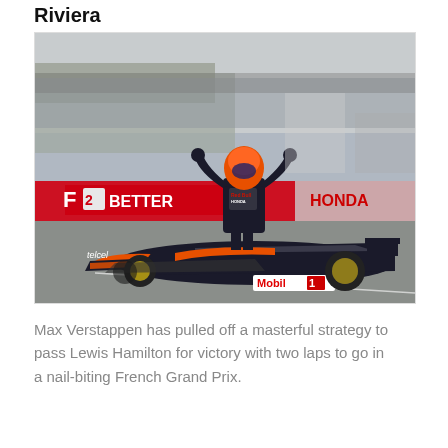Riviera
[Figure (photo): Max Verstappen celebrating victory standing on top of his Red Bull Honda Formula 1 car (with Mobil 1 and Telcel branding) at the French Grand Prix circuit, arms raised in triumph. A Mercedes F1 car is visible behind. Crowd and pit lane infrastructure visible in background. Red and white banners including 'F1 BETTER' visible in background.]
Max Verstappen has pulled off a masterful strategy to pass Lewis Hamilton for victory with two laps to go in a nail-biting French Grand Prix.